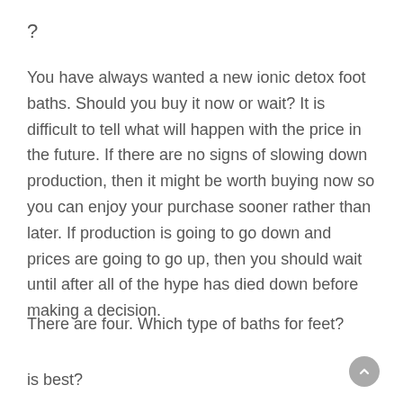?
You have always wanted a new ionic detox foot baths. Should you buy it now or wait? It is difficult to tell what will happen with the price in the future. If there are no signs of slowing down production, then it might be worth buying now so you can enjoy your purchase sooner rather than later. If production is going to go down and prices are going to go up, then you should wait until after all of the hype has died down before making a decision.
There are four. Which type of baths for feet?
is best?